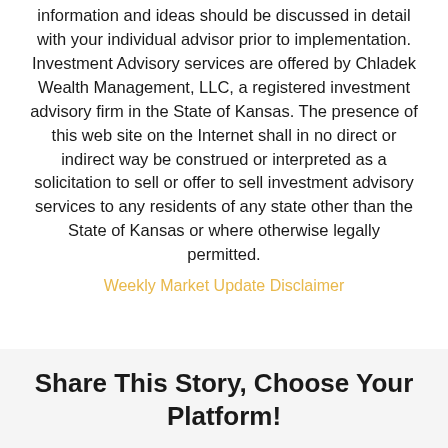information and ideas should be discussed in detail with your individual advisor prior to implementation. Investment Advisory services are offered by Chladek Wealth Management, LLC, a registered investment advisory firm in the State of Kansas. The presence of this web site on the Internet shall in no direct or indirect way be construed or interpreted as a solicitation to sell or offer to sell investment advisory services to any residents of any state other than the State of Kansas or where otherwise legally permitted.
Weekly Market Update Disclaimer
Share This Story, Choose Your Platform!